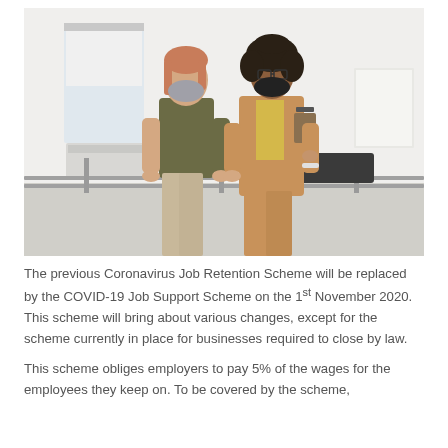[Figure (photo): Two women wearing face masks standing in a bright office space. The woman on the left wears a grey mask and an olive green sleeveless vest with beige trousers. The woman on the right wears a black mask, glasses, and a tan blazer suit, holding a clipboard. The background shows a minimalist white room with furniture.]
The previous Coronavirus Job Retention Scheme will be replaced by the COVID-19 Job Support Scheme on the 1st November 2020. This scheme will bring about various changes, except for the scheme currently in place for businesses required to close by law.
This scheme obliges employers to pay 5% of the wages for the employees they keep on. To be covered by the scheme,